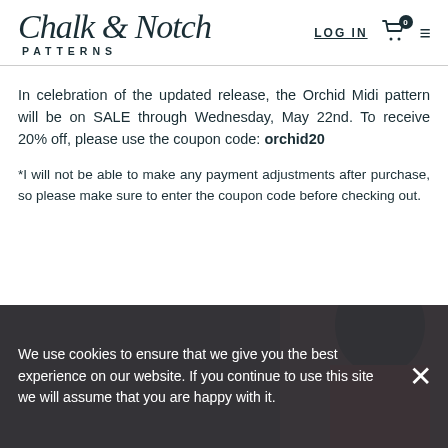Chalk & Notch PATTERNS — LOG IN — cart 0 — menu
In celebration of the updated release, the Orchid Midi pattern will be on SALE through Wednesday, May 22nd. To receive 20% off, please use the coupon code: orchid20
*I will not be able to make any payment adjustments after purchase, so please make sure to enter the coupon code before checking out.
We use cookies to ensure that we give you the best experience on our website. If you continue to use this site we will assume that you are happy with it.
[Figure (photo): Partial photo of a woman in a red top, visible in the lower right portion of the page behind the cookie consent banner.]